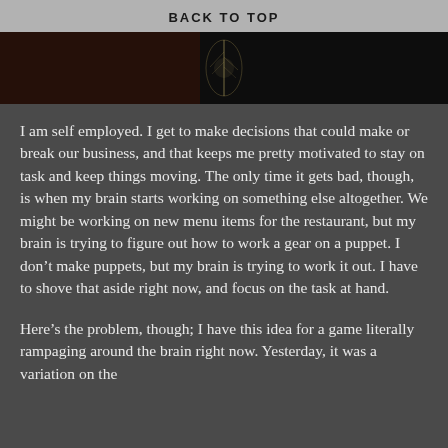BACK TO TOP
[Figure (photo): Dark background image with a faintly glowing feather or light element in the center]
I am self employed. I get to make decisions that could make or break our business, and that keeps me pretty motivated to stay on task and keep things moving. The only time it gets bad, though, is when my brain starts working on something else altogether. We might be working on new menu items for the restaurant, but my brain is trying to figure out how to work a gear on a puppet. I don't make puppets, but my brain is trying to work it out. I have to shove that aside right now, and focus on the task at hand.
Here’s the problem, though; I have this idea for a game literally rampaging around the brain right now. Yesterday, it was a variation on the